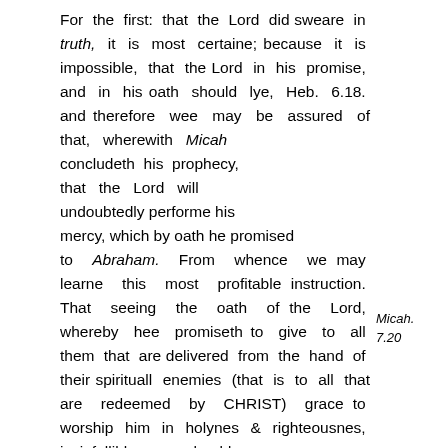For the first: that the Lord did sweare in truth, it is most certaine; because it is impossible, that the Lord in his promise, and in his oath should lye, Heb. 6.18. and therefore wee may be assured of that, wherewith Micah concludeth his prophecy, that the Lord will undoubtedly performe his mercy, which by oath he promised to Abraham. From whence we may learne this most profitable instruction. That seeing the oath of the Lord, whereby hee promiseth to give to all them that are delivered from the hand of their spirituall enemies (that is to all that are redeemed by CHRIST) grace to worship him in holynes & righteousnes, is infallible, wee should
Micah. 7.20